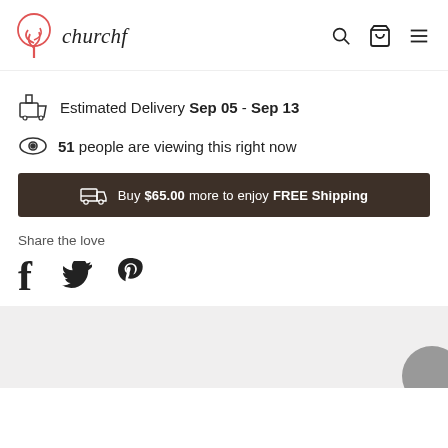churchf — website header with logo, search, cart, and menu icons
Estimated Delivery Sep 05 - Sep 13
51 people are viewing this right now
Buy $65.00 more to enjoy FREE Shipping
Share the love
[Figure (infographic): Social share icons: Facebook (f), Twitter (bird), Pinterest (P)]
[Figure (photo): Gray background image area at bottom, partially visible]